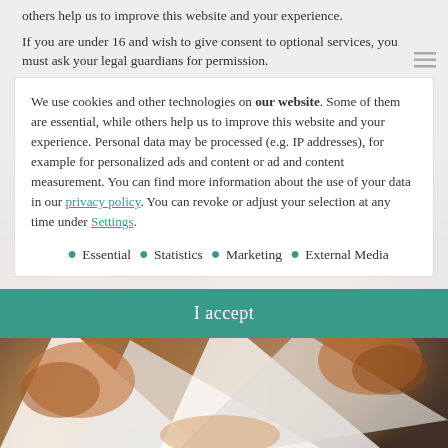others help us to improve this website and your experience.
If you are under 16 and wish to give consent to optional services, you must ask your legal guardians for permission.
We use cookies and other technologies on our website. Some of them are essential, while others help us to improve this website and your experience. Personal data may be processed (e.g. IP addresses), for example for personalized ads and content or ad and content measurement. You can find more information about the use of your data in our privacy policy. You can revoke or adjust your selection at any time under Settings.
Essential
Statistics
Marketing
External Media
I accept
[Figure (photo): Blurred photo of baked goods/bread rolls in white paper packaging, taken from above, with dark and warm brown tones.]